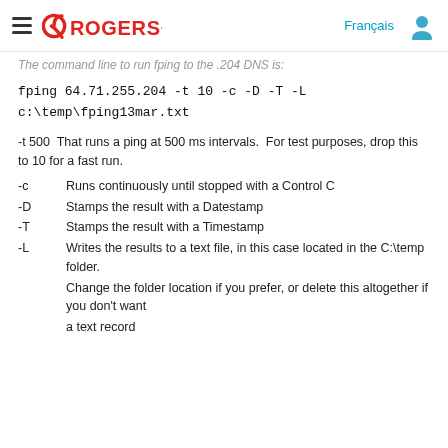ROGERS  Français
The command line to run fping to the .204 DNS is:
fping 64.71.255.204 -t 10 -c -D -T -L c:\temp\fping13mar.txt
-t 500  That runs a ping at 500 ms intervals.  For test purposes, drop this to 10 for a fast run.
-c	Runs continuously until stopped with a Control C
-D	Stamps the result with a Datestamp
-T	Stamps the result with a Timestamp
-L	Writes the results to a text file, in this case located in the C:\temp folder.
Change the folder location if you prefer, or delete this altogether if you don't want
a text record